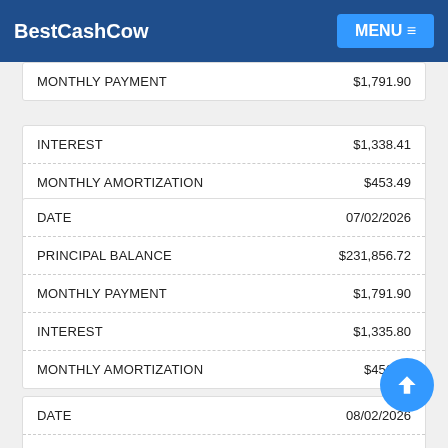BestCashCow | MENU
|  |  |
| --- | --- |
| PRINCIPAL BALANCE | $232,312.82 |
| MONTHLY PAYMENT | $1,791.90 |
|  |  |
| --- | --- |
| INTEREST | $1,338.41 |
| MONTHLY AMORTIZATION | $453.49 |
|  |  |
| --- | --- |
| DATE | 07/02/2026 |
| PRINCIPAL BALANCE | $231,856.72 |
| MONTHLY PAYMENT | $1,791.90 |
| INTEREST | $1,335.80 |
| MONTHLY AMORTIZATION | $456.10 |
|  |  |
| --- | --- |
| DATE | 08/02/2026 |
| PRINCIPAL BALANCE | $231,398.00 |